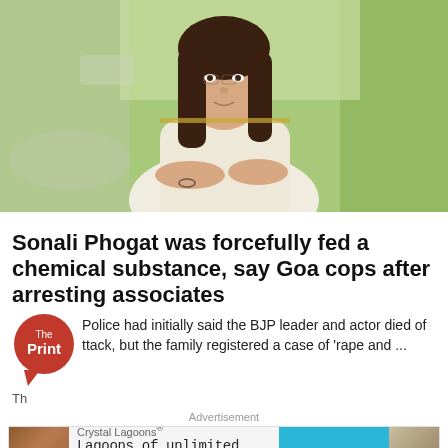[Figure (photo): Portrait photo of Sonali Phogat, a woman with long brown hair wearing a white saree, standing outdoors with a green blurred background]
Sonali Phogat was forcefully fed a chemical substance, say Goa cops after arresting associates
Police had initially said the BJP leader and actor died of ttack, but the family registered a case of 'rape and ...
The
[Figure (logo): The Print logo - red circular speech bubble with 'The Print' text in white]
Advertisement
Crystal Lagoons® Lagoons of unlimited size LEARN MORE